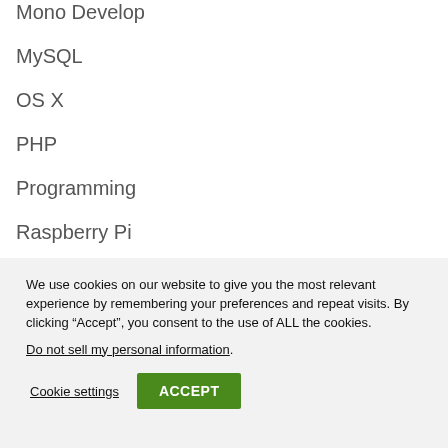Mono Develop
MySQL
OS X
PHP
Programming
Raspberry Pi
Server 2008
We use cookies on our website to give you the most relevant experience by remembering your preferences and repeat visits. By clicking “Accept”, you consent to the use of ALL the cookies. Do not sell my personal information.
Cookie settings  ACCEPT